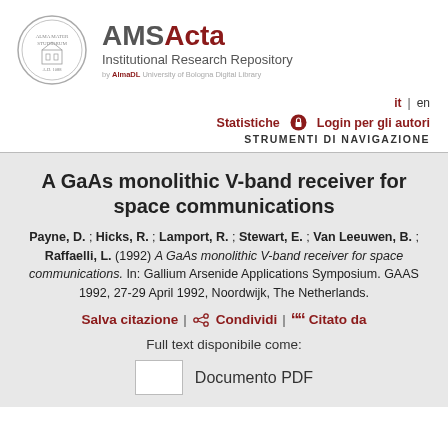[Figure (logo): University of Bologna circular seal logo]
AMSActa Institutional Research Repository by AlmaDL University of Bologna Digital Library
it | en
Statistiche   Login per gli autori
STRUMENTI DI NAVIGAZIONE
A GaAs monolithic V-band receiver for space communications
Payne, D. ; Hicks, R. ; Lamport, R. ; Stewart, E. ; Van Leeuwen, B. ; Raffaelli, L. (1992) A GaAs monolithic V-band receiver for space communications. In: Gallium Arsenide Applications Symposium. GAAS 1992, 27-29 April 1992, Noordwijk, The Netherlands.
Salva citazione | Condividi | Citato da
Full text disponibile come:
Documento PDF